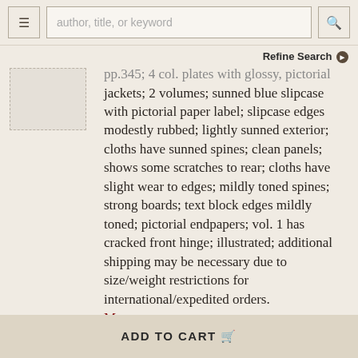author, title, or keyword [search bar] | Refine Search
[Figure (illustration): Thumbnail placeholder image with dashed border]
jackets; 2 volumes; sunned blue slipcase with pictorial paper label; slipcase edges modestly rubbed; lightly sunned exterior; cloths have sunned spines; clean panels; shows some scratches to rear; cloths have slight wear to edges; mildly toned spines; strong boards; text block edges mildly toned; pictorial endpapers; vol. 1 has cracked front hinge; illustrated; additional shipping may be necessary due to size/weight restrictions for international/expedited orders. More ›
ADD TO CART